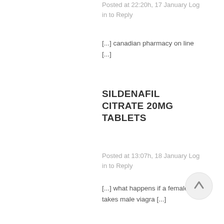Posted at 22:20h, 17 January Log in to Reply
[...] canadian pharmacy on line [...]
SILDENAFIL CITRATE 20MG TABLETS
Posted at 13:07h, 18 January Log in to Reply
[...] what happens if a female takes male viagra [...]